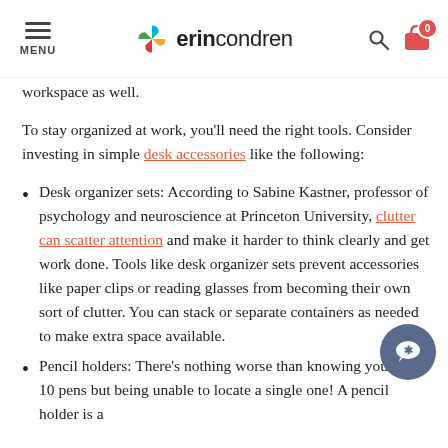MENU | erincondren | [search icon] [cart icon with 0]
workspace as well.
To stay organized at work, you'll need the right tools. Consider investing in simple desk accessories like the following:
Desk organizer sets: According to Sabine Kastner, professor of psychology and neuroscience at Princeton University, clutter can scatter attention and make it harder to think clearly and get work done. Tools like desk organizer sets prevent accessories like paper clips or reading glasses from becoming their own sort of clutter. You can stack or separate containers as needed to make extra space available.
Pencil holders: There's nothing worse than knowing you have 10 pens but being unable to locate a single one! A pencil holder is a